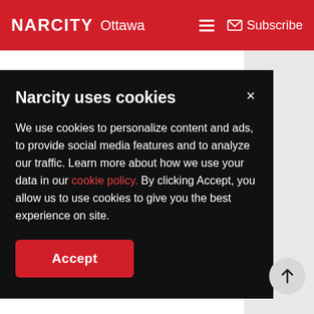NARCITY Ottawa — Subscribe
5. Take a Kingston Trolley Tour
Narcity uses cookies
We use cookies to personalize content and ads, to provide social media features and to analyze our traffic. Learn more about how we use your data in our cookie policy. By clicking Accept, you allow us to use cookies to give you the best experience on site.
Accept